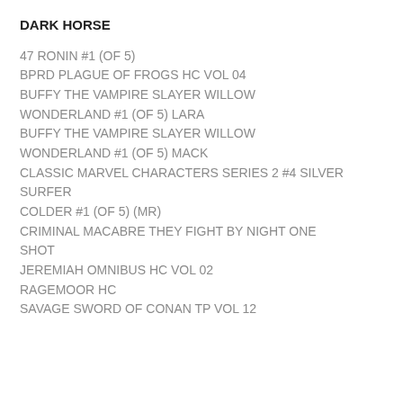DARK HORSE
47 RONIN #1 (OF 5)
BPRD PLAGUE OF FROGS HC VOL 04
BUFFY THE VAMPIRE SLAYER WILLOW WONDERLAND #1 (OF 5) LARA
BUFFY THE VAMPIRE SLAYER WILLOW WONDERLAND #1 (OF 5) MACK
CLASSIC MARVEL CHARACTERS SERIES 2 #4 SILVER SURFER
COLDER #1 (OF 5) (MR)
CRIMINAL MACABRE THEY FIGHT BY NIGHT ONE SHOT
JEREMIAH OMNIBUS HC VOL 02
RAGEMOOR HC
SAVAGE SWORD OF CONAN TP VOL 12